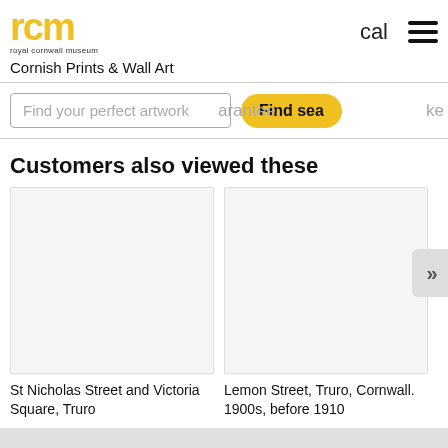[Figure (logo): Royal Cornwall Museum (rcm) logo in yellow with tagline 'royal cornwall museum']
cal
[Figure (other): Hamburger menu icon (three horizontal lines)]
Cornish Prints & Wall Art
Find your perfect artwork
arantee
Find sea
ke
Customers also viewed these
[Figure (photo): Blank white product image placeholder for St Nicholas Street and Victoria Square, Truro]
St Nicholas Street and Victoria Square, Truro
[Figure (photo): Blank white product image placeholder for Lemon Street, Truro, Cornwall. 1900s, before 1910]
Lemon Street, Truro, Cornwall. 1900s, before 1910